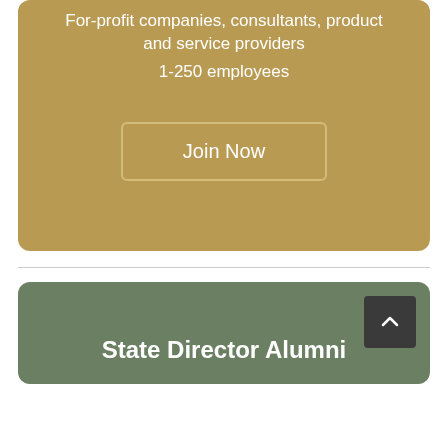For-profit companies, consultants, product and service providers
1-250 employees
Join Now
State Director Alumni